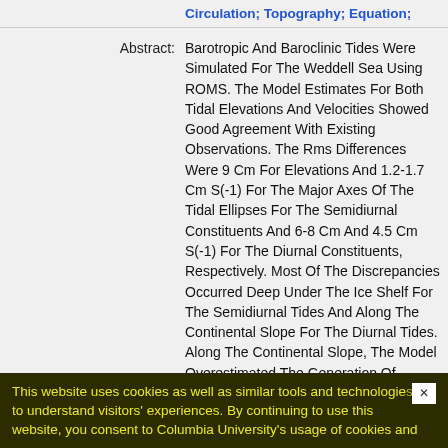Circulation; Topography; Equation;
Abstract: Barotropic And Baroclinic Tides Were Simulated For The Weddell Sea Using ROMS. The Model Estimates For Both Tidal Elevations And Velocities Showed Good Agreement With Existing Observations. The Rms Differences Were 9 Cm For Elevations And 1.2-1.7 Cm S(-1) For The Major Axes Of The Tidal Ellipses For The Semidiurnal Constituents And 6-8 Cm And 4.5 Cm S(-1) For The Diurnal Constituents, Respectively. Most Of The Discrepancies Occurred Deep Under The Ice Shelf For The Semidiurnal Tides And Along The Continental Slope For The Diurnal Tides. Along The Continental Slope, The Model Overestimated The Generation Of Diurnal Continental Shelf Waves. The Diurnal Tides Were Barotropic Throughout The Basin. However, Internal Tides Were Generated At Semidiurnal Frequencies Over Rough Topography. Over The Continental Slope, Semidiurnal Baroclinic Tide Generation Was Enhanced By The Existence...
This website uses cookies as well as similar tools and technologies to understand visitors' experiences. By continuing to use this website, you consent to Columbia University's usage of cookies and...